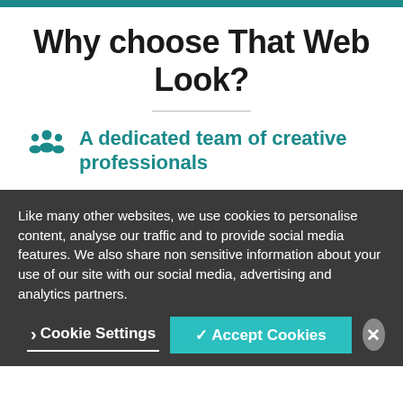Why choose That Web Look?
A dedicated team of creative professionals
Like many other websites, we use cookies to personalise content, analyse our traffic and to provide social media features. We also share non sensitive information about your use of our site with our social media, advertising and analytics partners.
Cookie Settings
✓ Accept Cookies